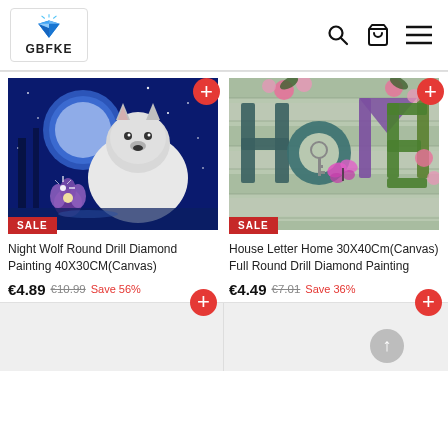[Figure (logo): GBFKE diamond painting store logo with blue diamond gem icon and text GBFKE below]
[Figure (photo): Night wolf with moon diamond painting product image - white wolf against blue moonlit night sky with purple flower]
Night Wolf Round Drill Diamond Painting 40X30CM(Canvas)
€4.89  €10.99  Save 56%
[Figure (photo): House Letter Home diamond painting product image - colorful HOME letters on wood plank background with pink flowers and butterfly]
House Letter Home 30X40Cm(Canvas) Full Round Drill Diamond Painting
€4.49  €7.01  Save 36%